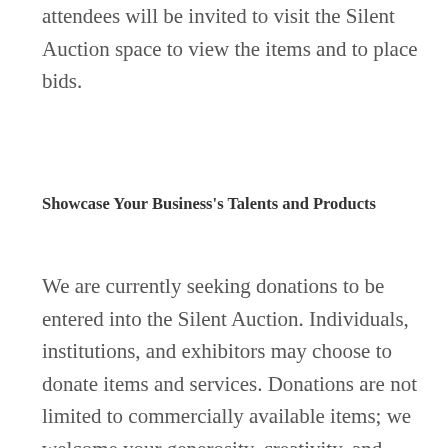attendees will be invited to visit the Silent Auction space to view the items and to place bids.
Showcase Your Business's Talents and Products
We are currently seeking donations to be entered into the Silent Auction. Individuals, institutions, and exhibitors may choose to donate items and services. Donations are not limited to commercially available items; we welcome your generosity, creativity, and